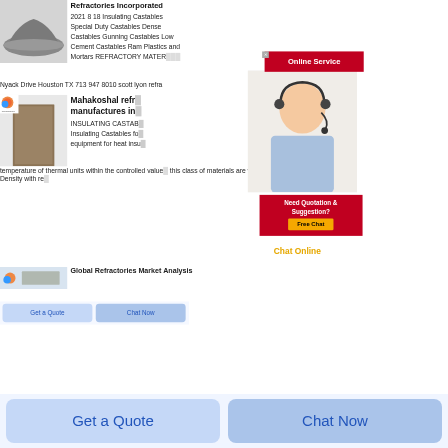[Figure (photo): Gray powder/dust pile product image for refractory castables listing]
Refractories Incorporated 2021 8 18 Insulating Castables Special Duty Castables Dense Castables Gunning Castables Low Cement Castables Ram Plastics and Mortars REFRACTORY MATERIALS
Nyack Drive Houston TX 713 947 8010 scott lyon refra...
[Figure (photo): Online Service popup showing a female customer service agent with headset and red banner]
[Figure (photo): Brick/tile product image with Rongsheng logo badge for Mahakoshal refractories listing]
Mahakoshal refractories manufactures in...
INSULATING CASTABLES Insulating Castables for equipment for heat insulation temperature of thermal units within the controlled value this class of materials are very low Bulk Density with re...
[Figure (photo): Need Quotation & Suggestion popup with Free Chat button and female agent photo]
Chat Online
[Figure (photo): Rongsheng logo and product image for Global Refractories Market Analysis listing]
Global Refractories Market Analysis
Get a Quote
Chat Now